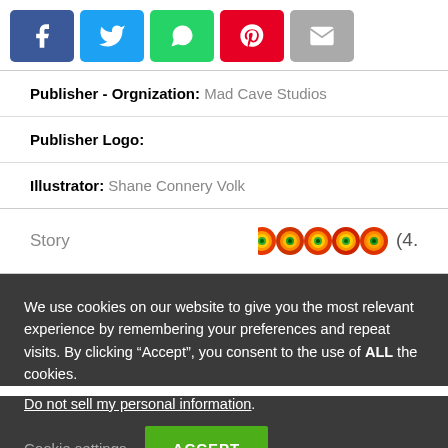[Figure (other): Social share buttons: Facebook (blue), Twitter (light blue), WhatsApp (green), Pinterest (red), Email (gray)]
| Publisher - Orgnization: | Mad Cave Studios |
| Publisher Logo: |  |
| Illustrator: | Shane Connery Volk |
| Story | 4.3 |
We use cookies on our website to give you the most relevant experience by remembering your preferences and repeat visits. By clicking “Accept”, you consent to the use of ALL the cookies.
Do not sell my personal information.
Cookie settings   ACCEPT